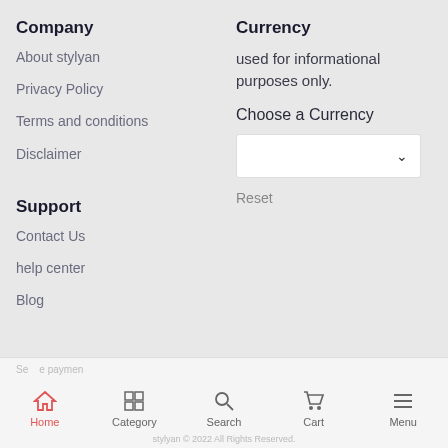Company
About stylyan
Privacy Policy
Terms and conditions
Disclaimer
Support
Contact Us
help center
Blog
Currency
used for informational purposes only.
Choose a Currency
[Figure (screenshot): Dropdown selector box with down arrow for currency selection]
Reset
Home  Category  Search  Cart  Menu
stylyan © 2022 All Rights Reserved.